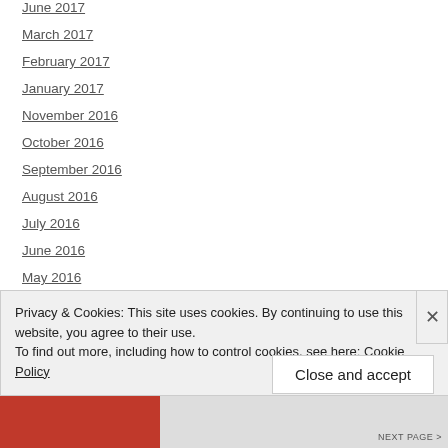June 2017
March 2017
February 2017
January 2017
November 2016
October 2016
September 2016
August 2016
July 2016
June 2016
May 2016
April 2016
March 2016
Privacy & Cookies: This site uses cookies. By continuing to use this website, you agree to their use.
To find out more, including how to control cookies, see here: Cookie Policy
Close and accept